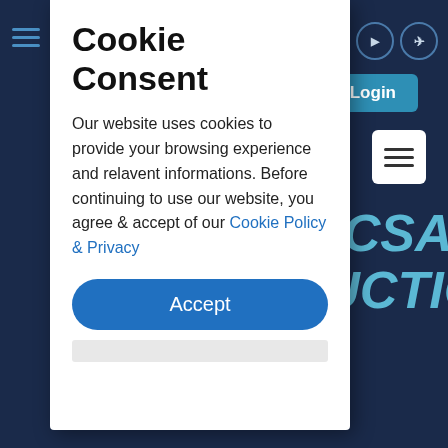[Figure (screenshot): Dark navy website background with hamburger menu icon on top left, social media icons (Facebook, Twitter, LinkedIn, YouTube, Telegram) on top right, Login button, and a menu button. Partially visible hero text reading '020 eCCSA NTRODUCTION' in blue italic. An ECG heartbeat line is visible in the lower portion.]
Cookie Consent
Our website uses cookies to provide your browsing experience and relavent informations. Before continuing to use our website, you agree & accept of our Cookie Policy & Privacy